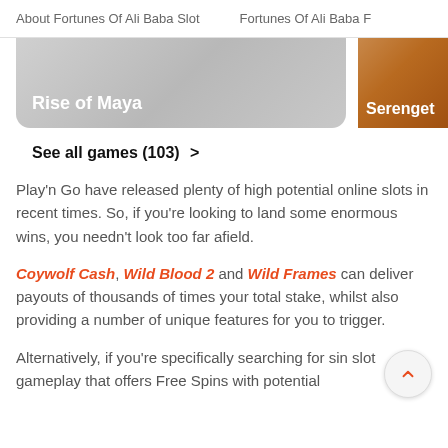About Fortunes Of Ali Baba Slot   Fortunes Of Ali Baba F
[Figure (screenshot): Two game card images: left card shows 'Rise of Maya' on a grey gradient background; right card shows 'Serengeti' partially visible with a warm brown/orange background image.]
See all games (103) >
Play'n Go have released plenty of high potential online slots in recent times. So, if you're looking to land some enormous wins, you needn't look too far afield.
Coywolf Cash, Wild Blood 2 and Wild Frames can deliver payouts of thousands of times your total stake, whilst also providing a number of unique features for you to trigger.
Alternatively, if you're specifically searching for sin slot gameplay that offers Free Spins with potential